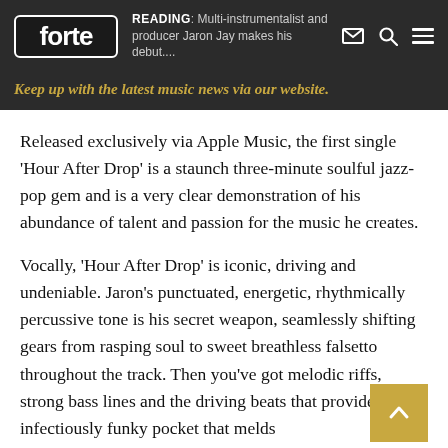forte | READING: Multi-instrumentalist and producer Jaron Jay makes his debut....
Keep up with the latest music news via our website.
Released exclusively via Apple Music, the first single 'Hour After Drop' is a staunch three-minute soulful jazz-pop gem and is a very clear demonstration of his abundance of talent and passion for the music he creates.
Vocally, 'Hour After Drop' is iconic, driving and undeniable. Jaron's punctuated, energetic, rhythmically percussive tone is his secret weapon, seamlessly shifting gears from rasping soul to sweet breathless falsetto throughout the track. Then you've got melodic riffs, strong bass lines and the driving beats that provide an infectiously funky pocket that melds